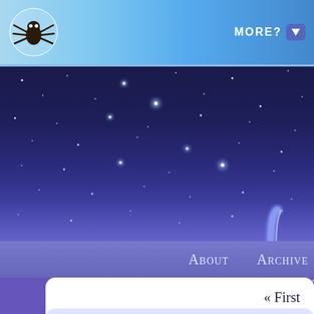[Figure (screenshot): Website header with light blue gradient background, spider logo on left, MORE? button with arrow on right]
[Figure (illustration): Dark starry night sky background with scattered white star dots, transitioning to purple/violet gradient. Partial horseshoe logo visible on right edge.]
About   Archive
« First
« First
Update time!
Hey! Here's another page! For your reference, the